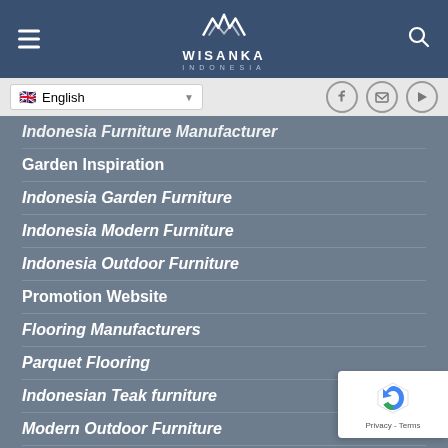[Figure (logo): Wisanka Indonesia logo with white wave/mountain symbol on dark blue navigation bar]
English language selector and social media icons (Facebook, Email, YouTube)
Indonesia Furniture Manufacturer (partial, italic)
Garden Inspiration
Indonesia Garden Furniture
Indonesia Modern Furniture
Indonesia Outdoor Furniture
Promotion Website
Flooring Manufacturers
Parquet Flooring
Indonesian Teak furniture
Modern Outdoor Furniture
Indonesia Patio Furniture
CONTACT OUTDOOR FURNITURE